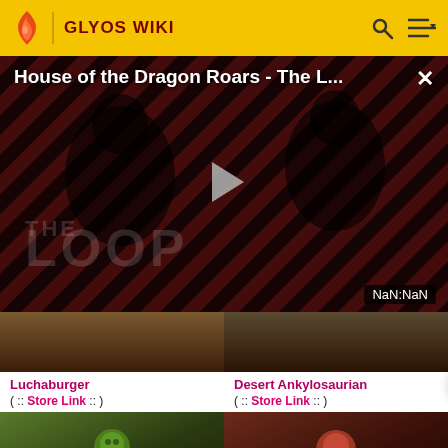GLYOS WIKI
[Figure (screenshot): Video player overlay showing 'House of the Dragon Roars - The L...' with a play button, diagonal red/black stripes background, dark figures, 'THE LOOP' text, and NaN:NaN time display]
[Figure (photo): Luchaburger product card image]
Luchaburger
( :: Store Link :: )
[Figure (photo): Desert Ankylosaurian product card image]
Desert Ankylosaurian
( :: Store Link :: )
[Figure (photo): Green figure product image (bottom left)]
[Figure (photo): Red/pink figure product image (bottom right)]